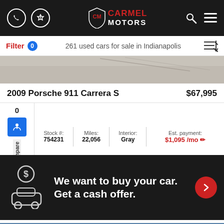[Figure (screenshot): Carmel Motors navigation bar with phone icon, directions icon, logo (CM shield with CARMEL MOTORS text), search icon, and hamburger menu icon on dark background]
Filter 0    261 used cars for sale in Indianapolis
[Figure (photo): Partial view of a car listing photo strip showing gray/beige tones]
2009 Porsche 911 Carrera S    $67,995
| Stock #: | Miles: | Interior: | Est. payment: |
| --- | --- | --- | --- |
| 754231 | 22,056 | Gray | $1,095 /mo |
[Figure (infographic): Dark promotional banner with dollar-coin and car icon, text: We want to buy your car. Get a cash offer. With red circle arrow button on right.]
[Figure (photo): Bottom strip showing partial car dealership exterior image with TIP ribbon/badge in red]